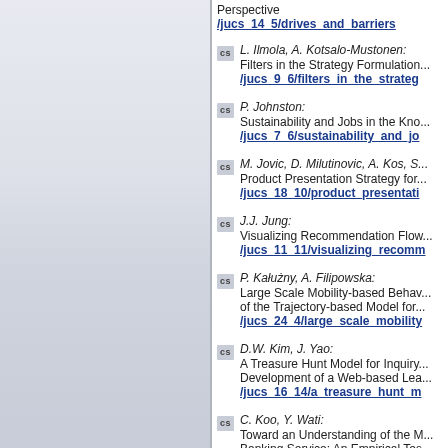Perspective /jucs 14 5/drives and barriers
L. Ilmola, A. Kotsalo-Mustonen: Filters in the Strategy Formulation... /jucs 9 6/filters in the strateg
P. Johnston: Sustainability and Jobs in the Kno... /jucs 7 6/sustainability and jo
M. Jovic, D. Milutinovic, A. Kos, S...: Product Presentation Strategy for... /jucs 18 10/product presentati
J.J. Jung: Visualizing Recommendation Flow... /jucs 11 11/visualizing recomm
P. Kałużny, A. Filipowska: Large Scale Mobility-based Behav... of the Trajectory-based Model for... /jucs 24 4/large scale mobility
D.W. Kim, J. Yao: A Treasure Hunt Model for Inquiry... Development of a Web-based Lea... /jucs 16 14/a treasure hunt m
C. Koo, Y. Wati: Toward an Understanding of the M... Banking Service: An Empirical Tes... /jucs 16 13/toward an underst